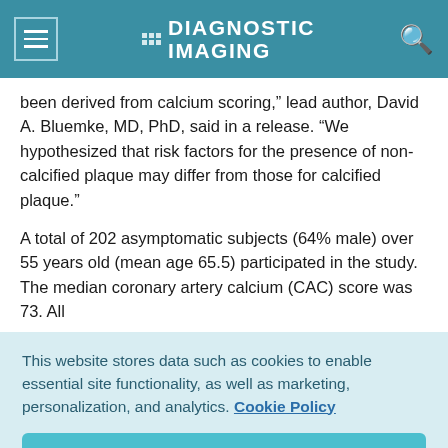DIAGNOSTIC IMAGING
been derived from calcium scoring," lead author, David A. Bluemke, MD, PhD, said in a release. "We hypothesized that risk factors for the presence of non-calcified plaque may differ from those for calcified plaque."
A total of 202 asymptomatic subjects (64% male) over 55 years old (mean age 65.5) participated in the study. The median coronary artery calcium (CAC) score was 73. All
This website stores data such as cookies to enable essential site functionality, as well as marketing, personalization, and analytics. Cookie Policy
Accept
Deny